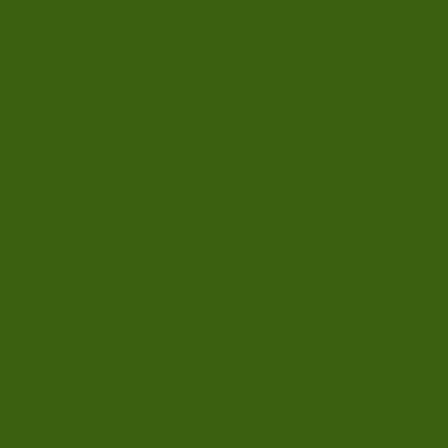[Figure (other): Large dark green rectangular panel occupying the left portion of the page]
thanks to online his information. You ca information into yo future use and ana
How to Download S ExcelDownloading Internet into a Micr often a necessity. T explain how to dow
How to Speed Up I FreeThe Internet a music, aduedu1554 videos, software ar Nothing ruins dowr like slow connectio
How to Download M you have ever dow know how to down
How to Get Real-T success in the stoo
Select the Start Da